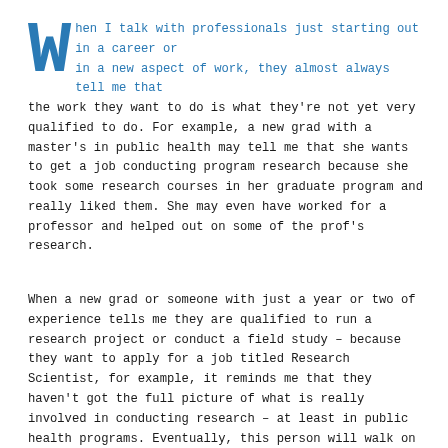When I talk with professionals just starting out in a career or in a new aspect of work, they almost always tell me that the work they want to do is what they're not yet very qualified to do. For example, a new grad with a master's in public health may tell me that she wants to get a job conducting program research because she took some research courses in her graduate program and really liked them. She may even have worked for a professor and helped out on some of the prof's research.
When a new grad or someone with just a year or two of experience tells me they are qualified to run a research project or conduct a field study – because they want to apply for a job titled Research Scientist, for example, it reminds me that they haven't got the full picture of what is really involved in conducting research – at least in public health programs. Eventually, this person will walk on water, but we all do windows much more often in our jobs, no matter what level we are at.